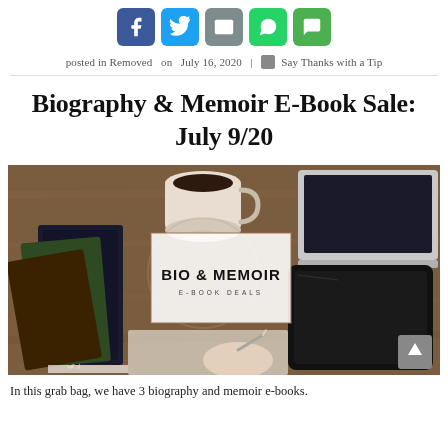[Figure (other): Row of social sharing buttons: Facebook (blue), Twitter (light blue), Email (grey), WhatsApp (green), SMS (green)]
posted in Removed  on  July 16, 2020  |  Say Thanks with a Tip
Biography & Memoir E-Book Sale: July 9/20
[Figure (photo): Photo of desk scene with books, coffee cup, tablet, laptop, and hand writing. Overlaid white box with text: BIO & MEMOIR E-BOOK DEALS. Scroll-to-top button in bottom right corner.]
In this grab bag, we have 3 biography and memoir e-books.